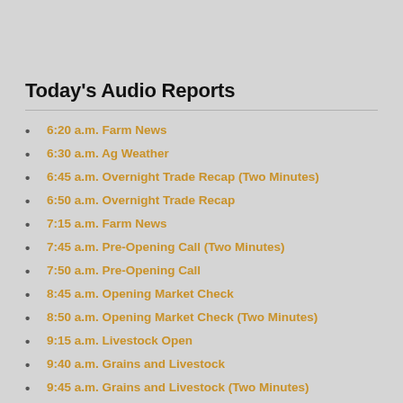Today's Audio Reports
6:20 a.m. Farm News
6:30 a.m. Ag Weather
6:45 a.m. Overnight Trade Recap (Two Minutes)
6:50 a.m. Overnight Trade Recap
7:15 a.m. Farm News
7:45 a.m. Pre-Opening Call (Two Minutes)
7:50 a.m. Pre-Opening Call
8:45 a.m. Opening Market Check
8:50 a.m. Opening Market Check (Two Minutes)
9:15 a.m. Livestock Open
9:40 a.m. Grains and Livestock
9:45 a.m. Grains and Livestock (Two Minutes)